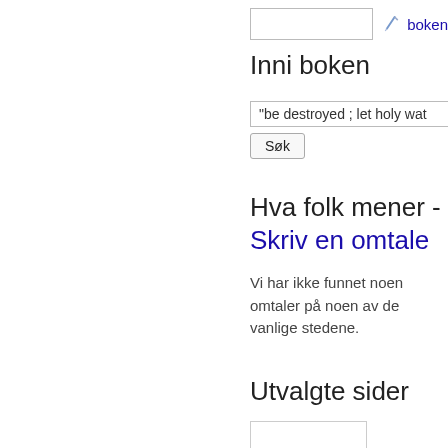[Figure (screenshot): Search input box with pencil/pen icon at top right area, partially cropped]
boken
Inni boken
[Figure (screenshot): Search input box containing text '"be destroyed ; let holy wat' with a Søk button below]
Hva folk mener - Skriv en omtale
Vi har ikke funnet noen omtaler på noen av de vanlige stedene.
Utvalgte sider
[Figure (screenshot): Thumbnail image of a selected page, partially visible at bottom of page]